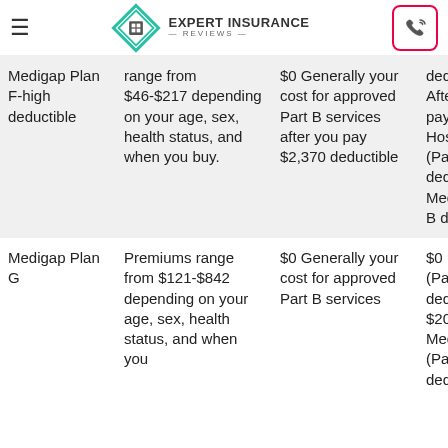Expert Insurance Reviews
| Plan | Premiums | Part B Cost | What's Covered |
| --- | --- | --- | --- |
| Medigap Plan F-high deductible | range from $46-$217 depending on your age, sex, health status, and when you buy. | $0 Generally your cost for approved Part B services after you pay $2,370 deductible | deducti After, y pay: $0 Hospit (Part A deducti $0 Med (Part B deducti |
| Medigap Plan G | Premiums range from $121-$842 depending on your age, sex, health status, and when you | $0 Generally your cost for approved Part B services | $0 Hos (Part A deducti $203 Medica (Part B deducti |